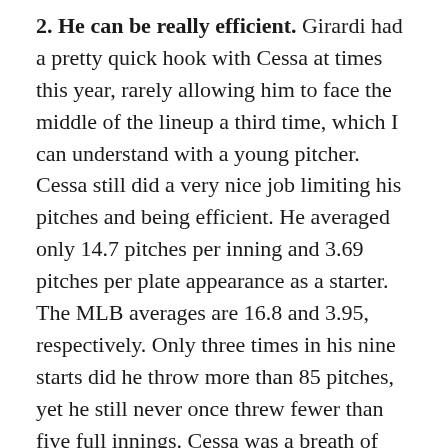2. He can be really efficient. Girardi had a pretty quick hook with Cessa at times this year, rarely allowing him to face the middle of the lineup a third time, which I can understand with a young pitcher. Cessa still did a very nice job limiting his pitches and being efficient. He averaged only 14.7 pitches per inning and 3.69 pitches per plate appearance as a starter. The MLB averages are 16.8 and 3.95, respectively. Only three times in his nine starts did he throw more than 85 pitches, yet he still never once threw fewer than five full innings. Cessa was a breath of fresh air in a world of young pitchers on pitch counts.
3. He didn't miss many bats or limit homers. It isn't all good news, obviously. Four pitches and